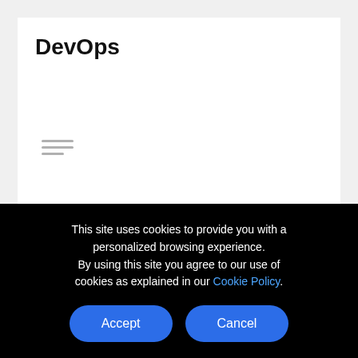DevOps
[Figure (other): Hamburger menu icon with three horizontal lines]
Application Life Cycle Management
This site uses cookies to provide you with a personalized browsing experience. By using this site you agree to our use of cookies as explained in our Cookie Policy.
Accept
Cancel